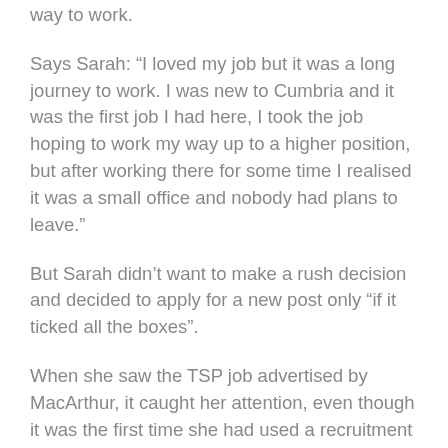way to work.
Says Sarah: “I loved my job but it was a long journey to work. I was new to Cumbria and it was the first job I had here, I took the job hoping to work my way up to a higher position, but after working there for some time I realised it was a small office and nobody had plans to leave.”
But Sarah didn’t want to make a rush decision and decided to apply for a new post only “if it ticked all the boxes”.
When she saw the TSP job advertised by MacArthur, it caught her attention, even though it was the first time she had used a recruitment company. And it’s been a happy move. She loves her new job, and the MacArthur team even visited her there to make sure that all was well, along with answering any questions she had during the process.